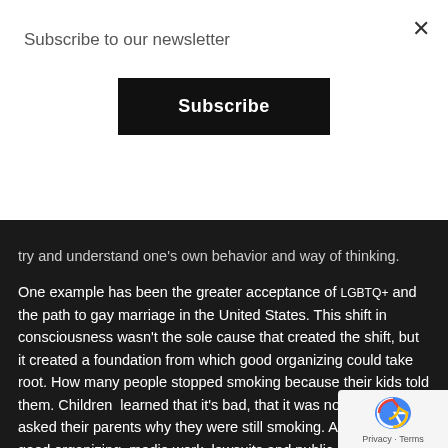Subscribe to our newsletter
Subscribe
try and understand one's own behavior and way of thinking.
One example has been the greater acceptance of LGBTQ+ and the path to gay marriage in the United States. This shift in consciousness wasn't the sole cause that created the shift, but it created a foundation from which good organizing could take root. How many people stopped smoking because their kids told them. Children  learned that it's bad, that it was not healthy, then asked their parents why they were still smoking. Add to that good organizing, media work, lawsuits and public policies and the shift has become monumental — in spite of the massive campaigns by the tobacco companies for decades to deceive the public about dangers. People died because they believed those messages